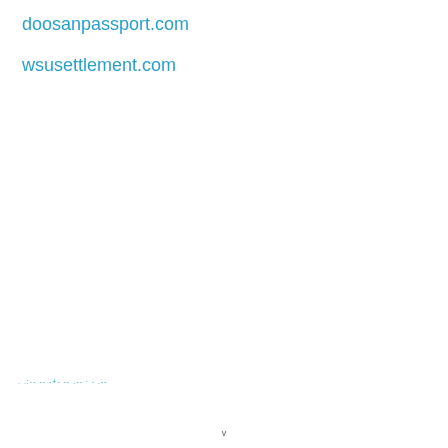doosanpassport.com
wsusettlement.com
. .:-- -- -+- -- .-- · - .--
v